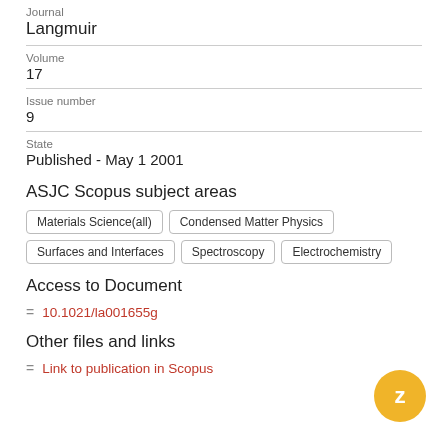Journal
Langmuir
Volume
17
Issue number
9
State
Published - May 1 2001
ASJC Scopus subject areas
Materials Science(all)
Condensed Matter Physics
Surfaces and Interfaces
Spectroscopy
Electrochemistry
Access to Document
10.1021/la001655g
Other files and links
Link to publication in Scopus